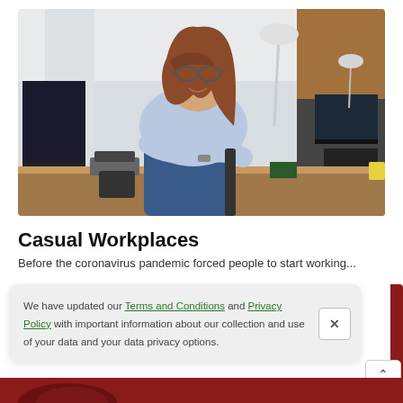[Figure (photo): Woman with glasses sitting on a desk in a casual open-plan office, smiling at camera with arms crossed, wearing a light blue shirt and jeans. Office environment with computers and lamps in background.]
Casual Workplaces
Before the coronavirus pandemic forced people to start working...
We have updated our Terms and Conditions and Privacy Policy with important information about our collection and use of your data and your data privacy options.